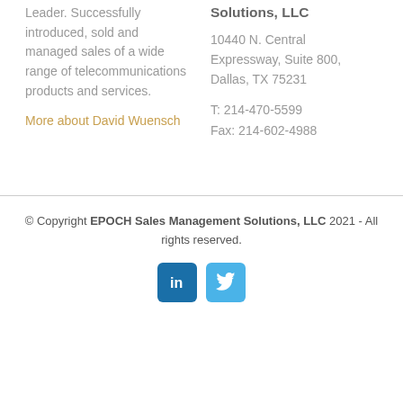Leader. Successfully introduced, sold and managed sales of a wide range of telecommunications products and services.
More about David Wuensch
Solutions, LLC
10440 N. Central Expressway, Suite 800, Dallas, TX 75231
T: 214-470-5599
Fax: 214-602-4988
© Copyright EPOCH Sales Management Solutions, LLC 2021 - All rights reserved.